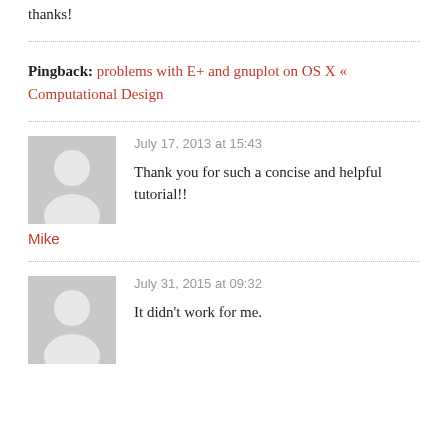thanks!
Pingback: problems with E+ and gnuplot on OS X « Computational Design
July 17, 2013 at 15:43
Thank you for such a concise and helpful tutorial!!
Mike
July 31, 2015 at 09:32
It didn't work for me.